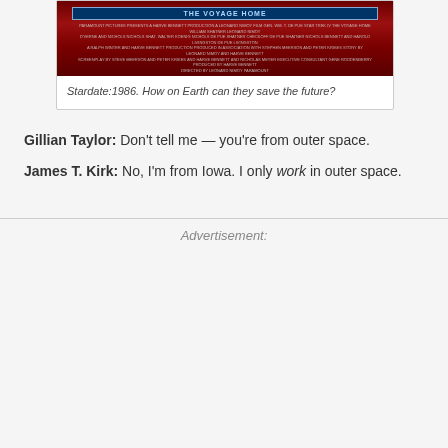[Figure (photo): Movie poster for Star Trek IV: The Voyage Home showing the title banner and film credits text on a dark red background]
Stardate:1986. How on Earth can they save the future?
Gillian Taylor: Don't tell me — you're from outer space.
James T. Kirk: No, I'm from Iowa. I only work in outer space.
Advertisement: